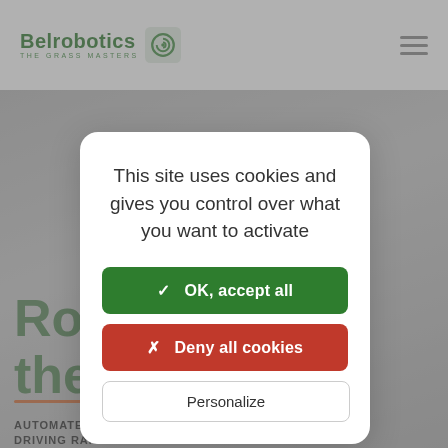[Figure (screenshot): Belrobotics website header with logo showing 'Belrobotics THE GRASS MASTERS' in green with a spiral icon, and hamburger menu on the right]
[Figure (screenshot): Background hero area of Belrobotics website showing partially obscured heading starting with 'Rob...' and 'the...' in green, an orange divider line, subheading 'AUTOMATE D... THE DRIVING RANGE C...' and partial body text]
This site uses cookies and gives you control over what you want to activate
✓  OK, accept all
✗  Deny all cookies
Personalize